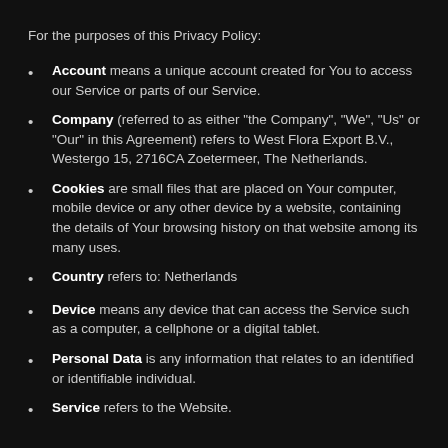For the purposes of this Privacy Policy:
Account means a unique account created for You to access our Service or parts of our Service.
Company (referred to as either "the Company", "We", "Us" or "Our" in this Agreement) refers to West Flora Export B.V., Westergo 15, 2716CA Zoetermeer, The Netherlands.
Cookies are small files that are placed on Your computer, mobile device or any other device by a website, containing the details of Your browsing history on that website among its many uses.
Country refers to: Netherlands
Device means any device that can access the Service such as a computer, a cellphone or a digital tablet.
Personal Data is any information that relates to an identified or identifiable individual.
Service refers to the Website.